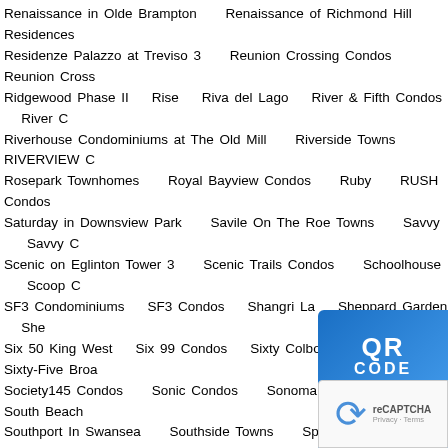Renaissance in Olde Brampton   Renaissance of Richmond Hill   Residences   Residenze Palazzo at Treviso 3   Reunion Crossing Condos   Reunion Cross   Ridgewood Phase II   Rise   Riva del Lago   River & Fifth Condos   River   Riverhouse Condominiums at The Old Mill   Riverside Towns   RIVERVIEW C   Rosepark Townhomes   Royal Bayview Condos   Ruby   RUSH Condos   Saturday in Downsview Park   Savile On The Roe Towns   Savvy   Savvy C   Scenic on Eglinton Tower 3   Scenic Trails Condos   Schoolhouse   Scoop C   SF3 Condominiums   SF3 Condos   Shangri La   Sheppard Garden   She   Six 50 King West   Six 99 Condos   Sixty Colborne Condos   Sixty-Five Broa   Society145 Condos   Sonic Condos   Sonoma Urban Towns   South Beach   Southport In Swansea   Southside Towns   Spectra   Spice Condominium   Square One District Condos   St. Clair Village Condos   Stanley Condos   S   Stockyards District Residences   Stonebrook Condominiums Phase   Summer Palace   SweetLife Condos   Symphony Condos   Sync   Teahouse Condos   Tek tower   Television City Condos   Ten Yor   The 228 Condominiums and Towns   The 500   The 6th Angus Gle   The Ambrose Condos   The Avanti   The Avenue   The Balmoral   The Beverly Hills   The Bond   The Borough Condos - Tower B   The Buckingham   The Butler Condos   The Capitol Residences   The Card   The Charles Condos   The Charlotte   The Chelsea   The Clairington   Th   The Courtyards of Upper Forest Hill   The Crest at Crosstown   The Cumberla   The Dawes   The Deane Condos   The Design District   The D   The Epicurean   The Essential   The Florian   The Fountains P   The Georgian Residences   The Glen Condominiums   The Glo   The High Park Condos   The Hill   The Hive Lofts   The Hub   The Humbe
[Figure (other): QR Code overlay with blue gradient background showing 'QR CODE' text and a QR code image]
[Figure (other): reCAPTCHA widget overlay at bottom right]